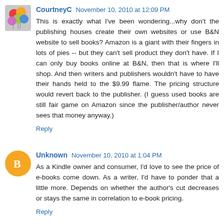CourtneyC November 10, 2010 at 12:09 PM
This is exactly what I've been wondering...why don't the publishing houses create their own websites or use B&N website to sell books? Amazon is a giant with their fingers in lots of pies -- but they can't sell product they don't have. If I can only buy books online at B&N, then that is where I'll shop. And then writers and publishers wouldn't have to have their hands held to the $9.99 flame. The pricing structure would revert back to the publisher. (I guess used books are still fair game on Amazon since the publisher/author never sees that money anyway.)
Reply
Unknown November 10, 2010 at 1:04 PM
As a Kindle owner and consumer, I'd love to see the price of e-books come down. As a writer, I'd have to ponder that a little more. Depends on whether the author's cut decreases or stays the same in correlation to e-book pricing.
Reply